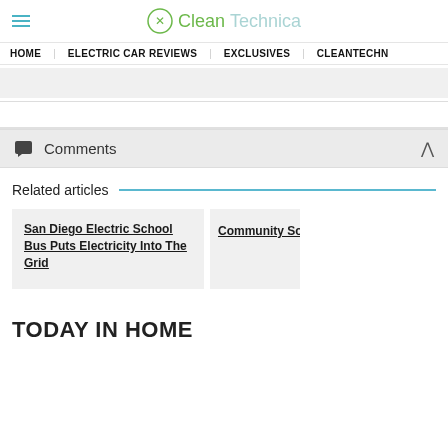CleanTechnica
HOME | ELECTRIC CAR REVIEWS | EXCLUSIVES | CLEANTECHN...
Comments
Related articles
San Diego Electric School Bus Puts Electricity Into The Grid
Community So...
TODAY IN HOME